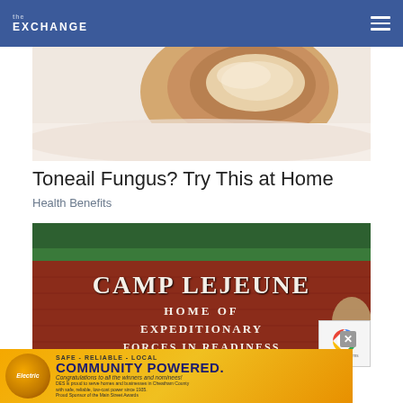theEXCHANGE
[Figure (photo): Close-up photo of a toenail with fungal infection, showing discolored thickened nail against white background]
Toneail Fungus? Try This at Home
Health Benefits
[Figure (photo): Photograph of Camp Lejeune entrance sign on red brick wall reading 'CAMP LEJEUNE HOME OF EXPEDITIONARY FORCES IN READINESS' with trees in background]
SAFE - RELIABLE - LOCAL COMMUNITY POWERED. Congratulations to all the winners and nominees! DES is proud to serve homes and businesses in Cheatham County with safe, reliable, low-cost power since 1935. Proud Sponsor of the Main Street Awards